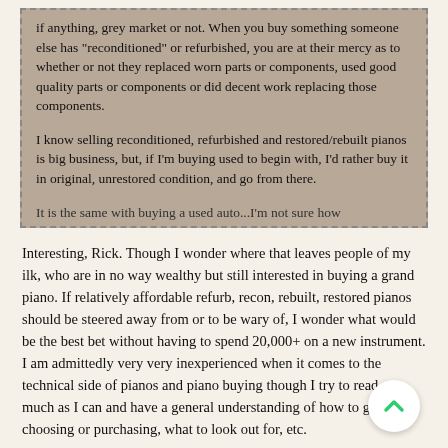if anything, grey market or not. When you buy something someone else has "reconditioned" or refurbished, you are at their mercy as to whether or not they replaced worn parts or components, used good quality parts or components or did decent work replacing those components.

I know selling reconditioned, refurbished and restored/rebuilt pianos is big business, but, if I'm buying used to begin with, I'd rather buy it in original, unrestored condition, and go from there.

It is the same with buying a used auto...I'm not sure how
Interesting, Rick. Though I wonder where that leaves people of my ilk, who are in no way wealthy but still interested in buying a grand piano. If relatively affordable refurb, recon, rebuilt, restored pianos should be steered away from or to be wary of, I wonder what would be the best bet without having to spend 20,000+ on a new instrument. I am admittedly very very inexperienced when it comes to the technical side of pianos and piano buying though I try to read as much as I can and have a general understanding of how to go about choosing or purchasing, what to look out for, etc.